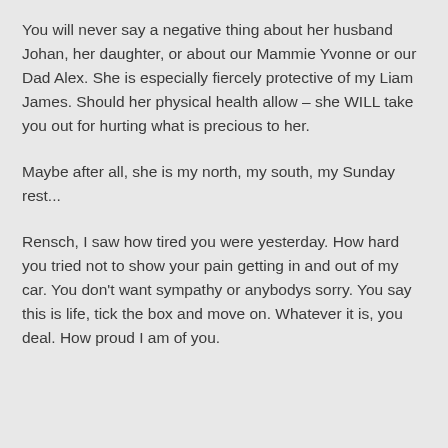You will never say a negative thing about her husband Johan, her daughter, or about our Mammie Yvonne or our Dad Alex. She is especially fiercely protective of my Liam James. Should her physical health allow – she WILL take you out for hurting what is precious to her.
Maybe after all, she is my north, my south, my Sunday rest...
Rensch, I saw how tired you were yesterday. How hard you tried not to show your pain getting in and out of my car. You don't want sympathy or anybodys sorry. You say this is life, tick the box and move on. Whatever it is, you deal. How proud I am of you.